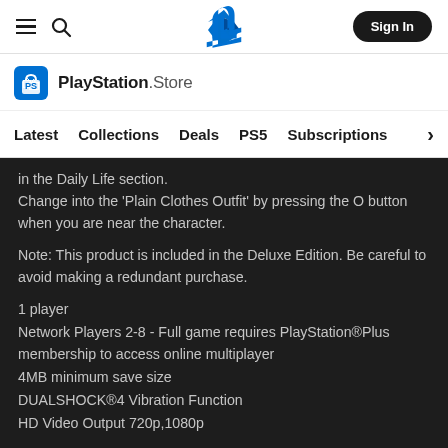PlayStation Store — Sign In navigation bar
[Figure (logo): PlayStation Store logo with shopping bag icon and text 'PlayStation.Store']
Latest   Collections   Deals   PS5   Subscriptions >
in the Daily Life section.
Change into the 'Plain Clothes Outfit' by pressing the O button when you are near the character.
Note: This product is included in the Deluxe Edition. Be careful to avoid making a redundant purchase.
1 player
Network Players 2-8 - Full game requires PlayStation®Plus membership to access online multiplayer
4MB minimum save size
DUALSHOCK®4 Vibration Function
HD Video Output 720p,1080p